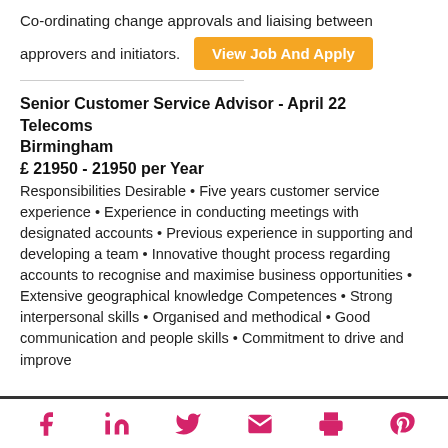Co-ordinating change approvals and liaising between approvers and initiators.
View Job And Apply
Senior Customer Service Advisor - April 22 Telecoms
Birmingham
£ 21950 - 21950 per Year
Responsibilities Desirable • Five years customer service experience • Experience in conducting meetings with designated accounts • Previous experience in supporting and developing a team • Innovative thought process regarding accounts to recognise and maximise business opportunities • Extensive geographical knowledge Competences • Strong interpersonal skills • Organised and methodical • Good communication and people skills • Commitment to drive and improve
Social share icons: Facebook, LinkedIn, Twitter, Email, Print, Pinterest